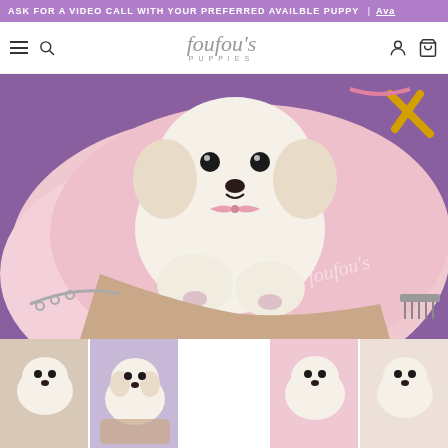ASK FOR A VIDEO CALL WITH YOUR PREFERRED AVAILBLE PUPPY | Ava...
foufou's PUPPIES
[Figure (photo): A small white fluffy teacup puppy with a pink bow tie, being held in a hand against a pink fluffy background with grooming scissors and ribbon visible. Watermark reads 'foufou's'.]
[Figure (photo): Thumbnail 1: small white fluffy puppy sitting]
[Figure (photo): Thumbnail 2: puppy held in hand on pink fur]
[Figure (photo): Thumbnail 3: puppy on pink fur background, front view]
[Figure (photo): Thumbnail 4: puppy held close-up view]
[Figure (photo): Thumbnail 5: partial thumbnail on right edge]